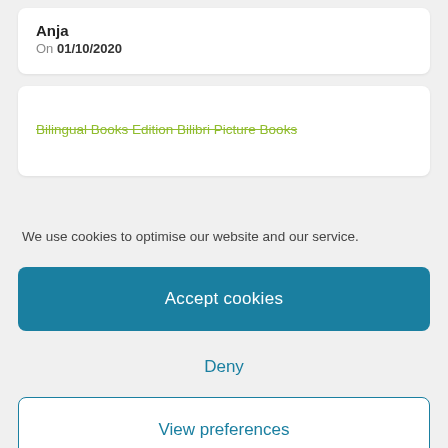Anja
On 01/10/2020
Bilingual Books Edition Bilibri Picture Books
We use cookies to optimise our website and our service.
Accept cookies
Deny
View preferences
Cookie Policy   Datenschutz